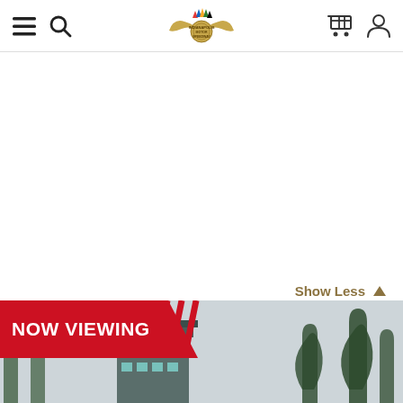Indianapolis Motor Speedway navigation header with menu, search, logo, cart, and user icons
Show Less
[Figure (photo): NOW VIEWING banner over a photo showing the Indianapolis Motor Speedway pagoda tower building with tall pine trees in the background against a light sky]